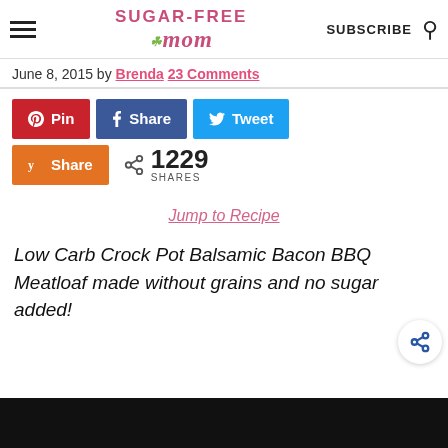SUGAR-FREE mom | SUBSCRIBE (search icon)
June 8, 2015 by Brenda 23 Comments
[Figure (other): Social sharing buttons: Pinterest Pin, Facebook Share, Twitter Tweet, Yummly Share; share count 1229 SHARES]
Jump to Recipe
Low Carb Crock Pot Balsamic Bacon BBQ Meatloaf made without grains and no sugar added!